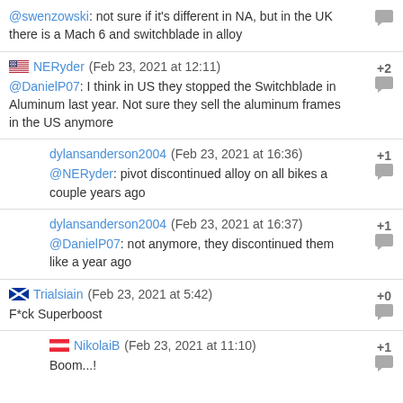@swenzowski: not sure if it's different in NA, but in the UK there is a Mach 6 and switchblade in alloy
NERyder (Feb 23, 2021 at 12:11) +2 @DanielP07: I think in US they stopped the Switchblade in Aluminum last year. Not sure they sell the aluminum frames in the US anymore
dylansanderson2004 (Feb 23, 2021 at 16:36) +1 @NERyder: pivot discontinued alloy on all bikes a couple years ago
dylansanderson2004 (Feb 23, 2021 at 16:37) +1 @DanielP07: not anymore, they discontinued them like a year ago
Trialsiain (Feb 23, 2021 at 5:42) +0 F*ck Superboost
NikolaiB (Feb 23, 2021 at 11:10) +1 Boom...!